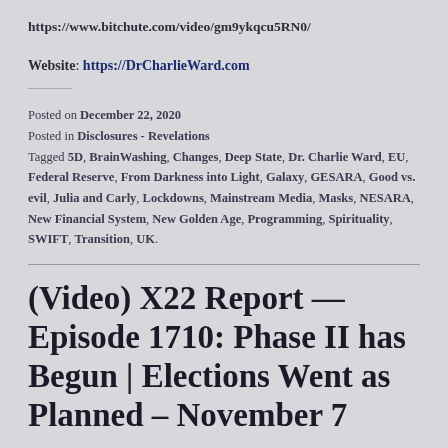https://www.bitchute.com/video/gm9ykqcu5RN0/
Website: https://DrCharlieWard.com
Posted on December 22, 2020
Posted in Disclosures - Revelations
Tagged 5D, BrainWashing, Changes, Deep State, Dr. Charlie Ward, EU, Federal Reserve, From Darkness into Light, Galaxy, GESARA, Good vs. evil, Julia and Carly, Lockdowns, Mainstream Media, Masks, NESARA, New Financial System, New Golden Age, Programming, Spirituality, SWIFT, Transition, UK.
(Video) X22 Report — Episode 1710: Phase II has Begun | Elections Went as Planned – November 7